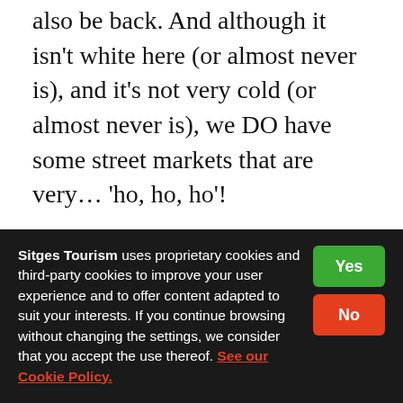And even if it seems far away to you, Christmas will also be back. And although it isn't white here (or almost never is), and it's not very cold (or almost never is), we DO have some street markets that are very... 'ho, ho, ho'!
And that brings us to the end of our Decalogue of some of the events not to be missed in Sitges in 2020. There are actually many more that we will be explaining to you throughout the year. In any event, thanks for your time and nice to meet you.
Sitges Tourism uses proprietary cookies and third-party cookies to improve your user experience and to offer content adapted to suit your interests. If you continue browsing without changing the settings, we consider that you accept the use thereof. See our Cookie Policy.